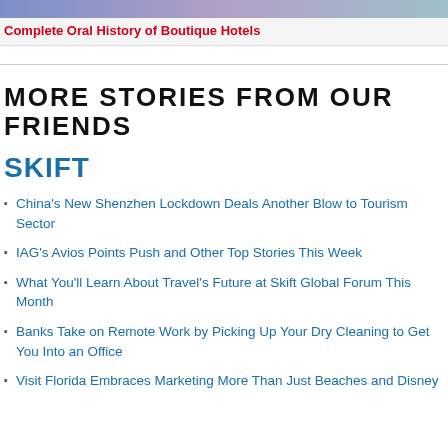Complete Oral History of Boutique Hotels
MORE STORIES FROM OUR FRIENDS
SKIFT
China's New Shenzhen Lockdown Deals Another Blow to Tourism Sector
IAG's Avios Points Push and Other Top Stories This Week
What You'll Learn About Travel's Future at Skift Global Forum This Month
Banks Take on Remote Work by Picking Up Your Dry Cleaning to Get You Into an Office
Visit Florida Embraces Marketing More Than Just Beaches and Disney